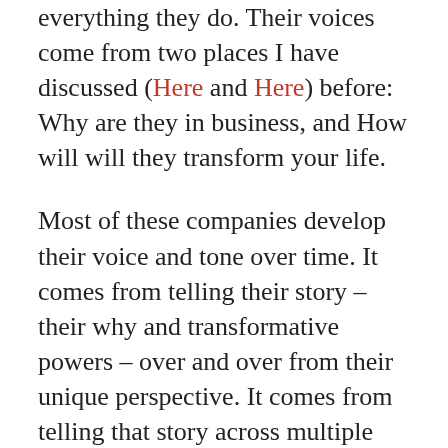everything they do. Their voices come from two places I have discussed (Here and Here) before: Why are they in business, and How will will they transform your life.

Most of these companies develop their voice and tone over time. It comes from telling their story – their why and transformative powers – over and over from their unique perspective. It comes from telling that story across multiple venues and media – printed brochures, advertisements, their website and their online ads. These companies develop a style and tone that grows naturally out of who they are. When they speak to us they sound authentic. We trust their message, even when we know they are selling us